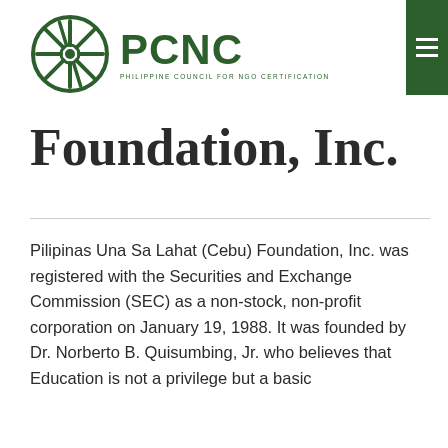[Figure (logo): PCNC (Philippine Council for NGO Certification) logo with circular wheel/sun icon in dark green and bold PCNC text]
Foundation, Inc.
Pilipinas Una Sa Lahat (Cebu) Foundation, Inc. was registered with the Securities and Exchange Commission (SEC) as a non-stock, non-profit corporation on January 19, 1988. It was founded by Dr. Norberto B. Quisumbing, Jr. who believes that Education is not a privilege but a basic